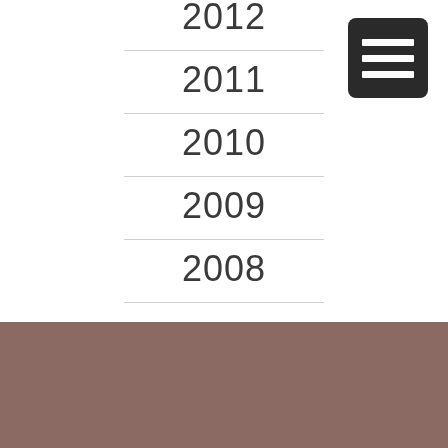2012
2011
2010
2009
2008
[Figure (illustration): Hamburger menu icon — dark square with three horizontal white lines]
[Figure (illustration): Brown/mauve colored footer section]